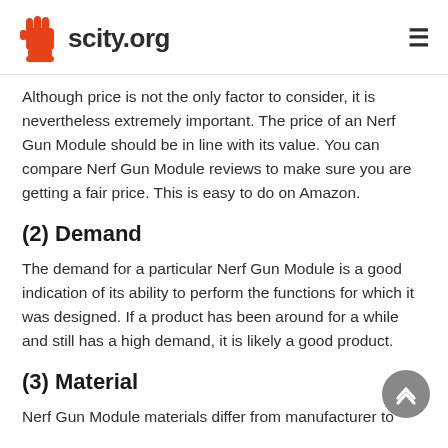scity.org
Although price is not the only factor to consider, it is nevertheless extremely important. The price of an Nerf Gun Module should be in line with its value. You can compare Nerf Gun Module reviews to make sure you are getting a fair price. This is easy to do on Amazon.
(2) Demand
The demand for a particular Nerf Gun Module is a good indication of its ability to perform the functions for which it was designed. If a product has been around for a while and still has a high demand, it is likely a good product.
(3) Material
Nerf Gun Module materials differ from manufacturer to